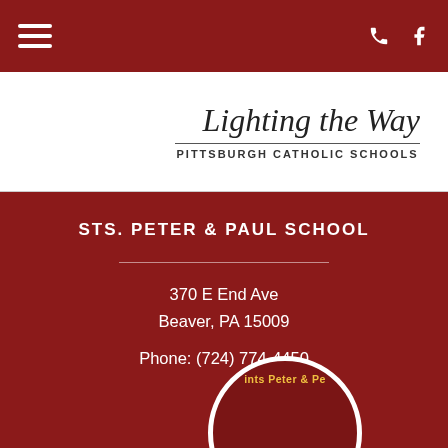[Figure (logo): Navigation bar with hamburger menu icon on left and phone/facebook icons on right, dark red background]
[Figure (logo): Pittsburgh Catholic Schools logo with 'Lighting the Way' italic text and 'PITTSBURGH CATHOLIC SCHOOLS' subtitle]
STS. PETER & PAUL SCHOOL
370 E End Ave
Beaver, PA 15009
Phone: (724) 774-4450
[Figure (logo): Circular school emblem/seal for Saints Peter & Paul School, partially visible at bottom, dark red with white border and yellow text]